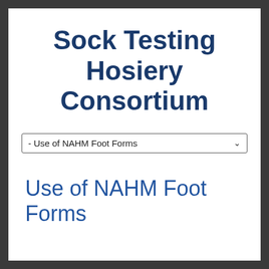Sock Testing Hosiery Consortium
[Figure (screenshot): Dropdown menu showing '- Use of NAHM Foot Forms' with a chevron arrow on the right]
Use of NAHM Foot Forms